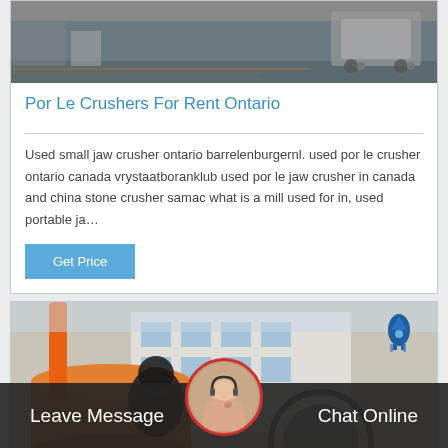[Figure (photo): Industrial machinery in a factory floor, top portion visible, gray tones]
Por Le Crushers For Rent Ontario
Used small jaw crusher ontario barrelenburgernl. used por le crusher ontario canada vrystaatboranklub used por le jaw crusher in canada and china stone crusher samac what is a mill used for in, used portable ja…
Get Price
[Figure (photo): Industrial ball mill machinery with orange drum, building in background; customer service representative avatar overlay at bottom; rocket icon top right]
Leave Message
Chat Online